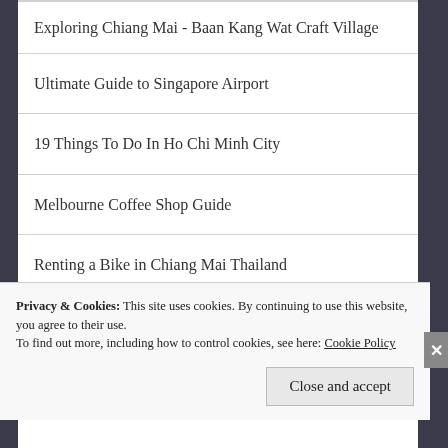Exploring Chiang Mai - Baan Kang Wat Craft Village
Ultimate Guide to Singapore Airport
19 Things To Do In Ho Chi Minh City
Melbourne Coffee Shop Guide
Renting a Bike in Chiang Mai Thailand
Privacy & Cookies: This site uses cookies. By continuing to use this website, you agree to their use.
To find out more, including how to control cookies, see here: Cookie Policy
Close and accept